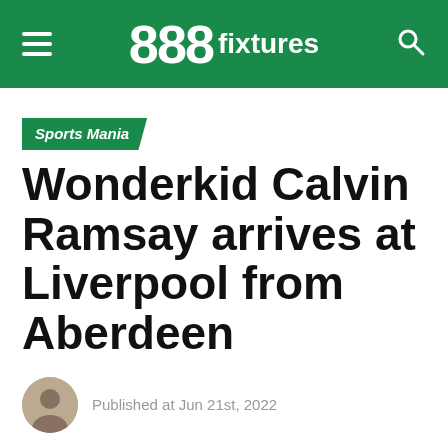888 fixtures
Sports Mania
Wonderkid Calvin Ramsay arrives at Liverpool from Aberdeen
Published at Jun 21st, 2022